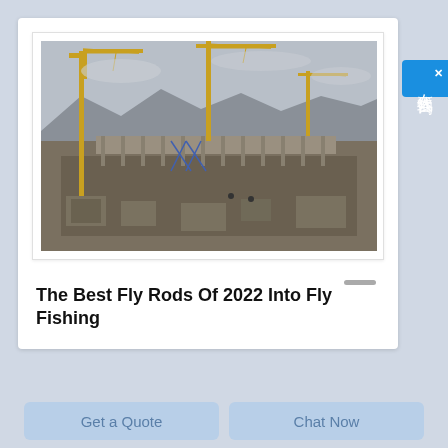[Figure (photo): Construction site with multiple cranes over a large excavation, mountains visible in background, cloudy sky]
The Best Fly Rods Of 2022 Into Fly Fishing
在线咨询
Get a Quote
Chat Now